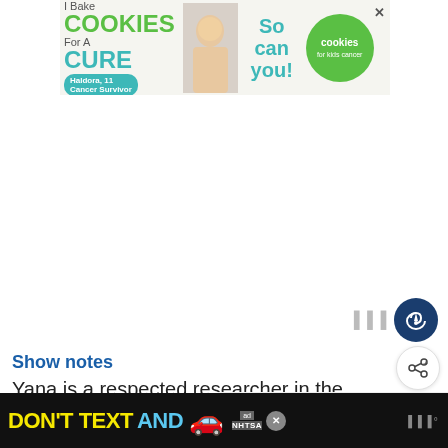[Figure (other): Advertisement banner: 'I Bake COOKIES For A CURE' with child photo, 'So can you!' text, and green cookies for kids cancer circle logo]
[Figure (other): Podcast player interface with bars icon and dark blue heart/favorite button]
Show notes
Yana is a respected researcher in the field of how to learn effectively, and bri...
[Figure (other): Share button (circular with share icon)]
[Figure (other): What's Next panel: 'Revision for' podcast thumbnail]
[Figure (other): Bottom advertisement banner: DON'T TEXT AND [car emoji] - NHTSA ad with close button]